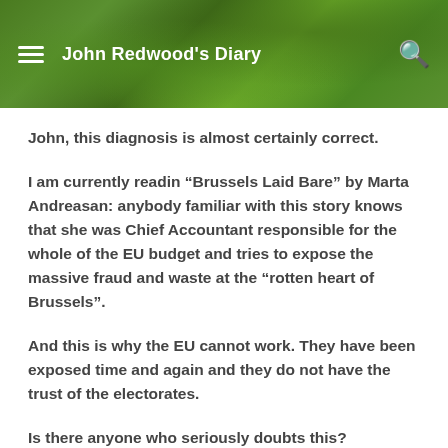John Redwood's Diary
John, this diagnosis is almost certainly correct.
I am currently readin “Brussels Laid Bare” by Marta Andreasan: anybody familiar with this story knows that she was Chief Accountant responsible for the whole of the EU budget and tries to expose the massive fraud and waste at the “rotten heart of Brussels”.
And this is why the EU cannot work. They have been exposed time and again and they do not have the trust of the electorates.
Is there anyone who seriously doubts this?